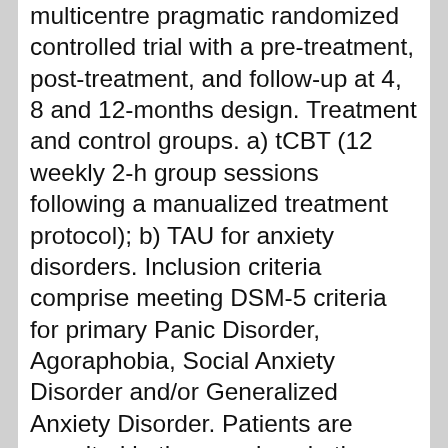multicentre pragmatic randomized controlled trial with a pre-treatment, post-treatment, and follow-up at 4, 8 and 12-months design. Treatment and control groups. a) tCBT (12 weekly 2-h group sessions following a manualized treatment protocol); b) TAU for anxiety disorders. Inclusion criteria comprise meeting DSM-5 criteria for primary Panic Disorder, Agoraphobia, Social Anxiety Disorder and/or Generalized Anxiety Disorder. Patients are recruited in three regions in the province of Quebec, Canada. The primary outcome measures are the self-reported Beck Anxiety Inventory and the clinician-administered Anxiety and Related Disorders Interview Schedule for DSM-5 (ADIS-5); secondary outcome measures include treatment responder status based on the ADIS-5, and self-reported instruments for specific anxiety and depression symptoms, quality of life, functioning, and service utilisation. STATISTICAL ANALYSIS: